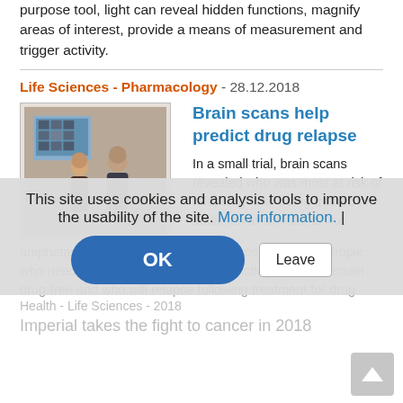purpose tool, light can reveal hidden functions, magnify areas of interest, provide a means of measurement and trigger activity.
Life Sciences - Pharmacology - 28.12.2018
[Figure (photo): Two people (a woman and a man) standing near a computer screen in an office setting.]
Brain scans help predict drug relapse
In a small trial, brain scans revealed who was most at risk of relapsing after being treated for addiction to stimulants like amphetamines or cocaine. The finding could identify people who need help staying drug-free. Predicting who will remain drug-free and who will relapse following treatment for drug
This site uses cookies and analysis tools to improve the usability of the site. More information. |
Health - Life Sciences - 2018
Imperial takes the fight to cancer in 2018